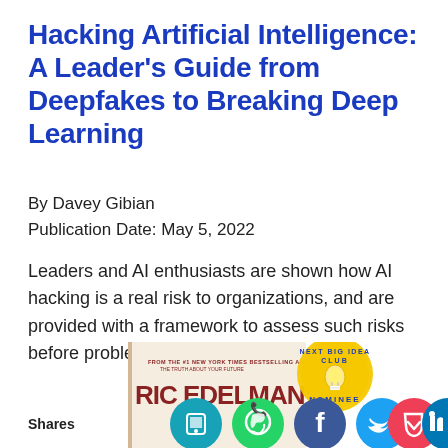Hacking Artificial Intelligence: A Leader's Guide from Deepfakes to Breaking Deep Learning
By Davey Gibian
Publication Date: May 5, 2022
Leaders and AI enthusiasts are shown how AI hacking is a real risk to organizations, and are provided with a framework to assess such risks before problems arise. View on Amazon
[Figure (illustration): Book cover for the featured title with a 'Next Big Idea Club Nominee' badge, partly visible. Below are social sharing icons: site share (teal), WhatsApp (green), Facebook (dark blue), Twitter (light blue), Pocket (red), LinkedIn (blue). A 'Shares' label appears on the left.]